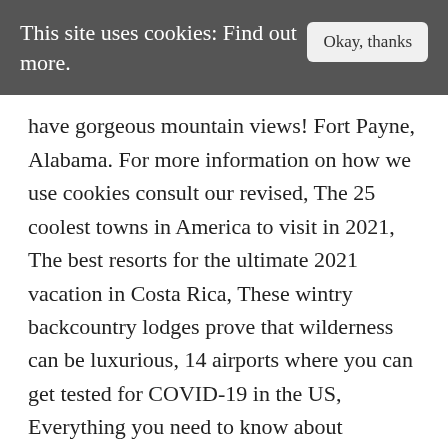This site uses cookies: Find out more.   Okay, thanks
have gorgeous mountain views! Fort Payne, Alabama. For more information on how we use cookies consult our revised, The 25 coolest towns in America to visit in 2021, The best resorts for the ultimate 2021 vacation in Costa Rica, These wintry backcountry lodges prove that wilderness can be luxurious, 14 airports where you can get tested for COVID-19 in the US, Everything you need to know about traveling to Hawaii right now, How to use Asheville as your base for Great Smoky Mountains National Park, Winter Biking in Lake Placid: Your Next Snowy Adventure,